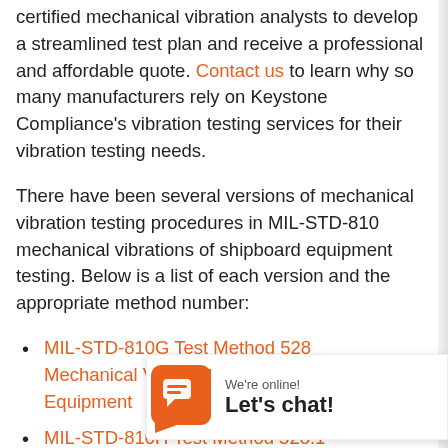certified mechanical vibration analysts to develop a streamlined test plan and receive a professional and affordable quote. Contact us to learn why so many manufacturers rely on Keystone Compliance's vibration testing services for their vibration testing needs.
There have been several versions of mechanical vibration testing procedures in MIL-STD-810 mechanical vibrations of shipboard equipment testing. Below is a list of each version and the appropriate method number:
MIL-STD-810G Test Method 528 Mechanical Vibrations of Shipboard Equipment
MIL-STD-810H Test Method 528.1 Mechanical Vibrations of Shipboard